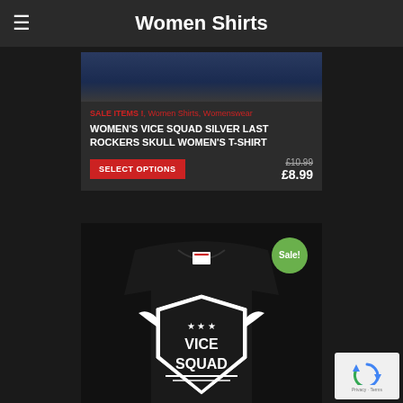Women Shirts
SALE ITEMS !, Women Shirts, Womenswear
WOMEN'S VICE SQUAD SILVER LAST ROCKERS SKULL WOMEN'S T-SHIRT
SELECT OPTIONS
£10.99  £8.99
[Figure (photo): Black Vice Squad t-shirt with eagle and shield logo, with Sale! badge overlay]
[Figure (logo): reCAPTCHA widget with Privacy and Terms links]